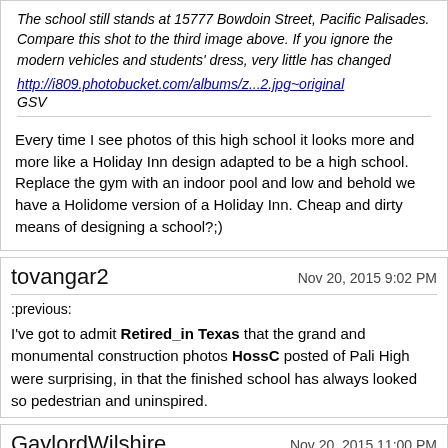The school still stands at 15777 Bowdoin Street, Pacific Palisades. Compare this shot to the third image above. If you ignore the modern vehicles and students' dress, very little has changed
http://i809.photobucket.com/albums/z...2.jpg~original
GSV
Every time I see photos of this high school it looks more and more like a Holiday Inn design adapted to be a high school. Replace the gym with an indoor pool and low and behold we have a Holidome version of a Holiday Inn. Cheap and dirty means of designing a school?;)
tovangar2
Nov 20, 2015 9:02 PM
:previous:
I've got to admit Retired_in_Texas that the grand and monumental construction photos HossC posted of Pali High were surprising, in that the finished school has always looked so pedestrian and uninspired.
GaylordWilshire
Nov 20, 2015 11:00 PM